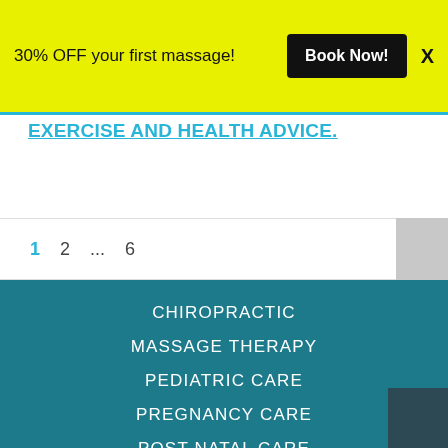30% OFF your first massage! Book Now! X
EXERCISE AND HEALTH ADVICE.
1  2  ...  6
CHIROPRACTIC
MASSAGE THERAPY
PEDIATRIC CARE
PREGNANCY CARE
POST NATAL CARE